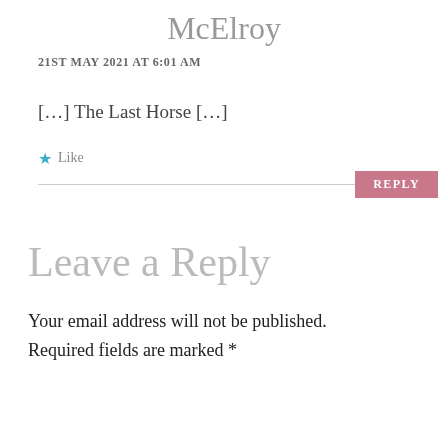McElroy
21ST MAY 2021 AT 6:01 AM
[…] The Last Horse […]
★ Like
REPLY
Leave a Reply
Your email address will not be published. Required fields are marked *